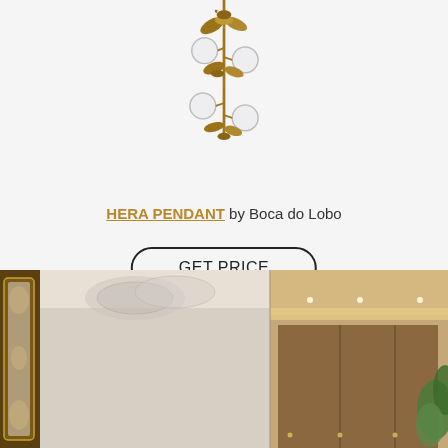[Figure (photo): A decorative brass pendant light fixture with botanical leaf and bird motifs, featuring multiple globe-shaped glass bulbs arranged vertically on a golden stem structure, photographed against a light gray background.]
HERA PENDANT by Boca do Lobo
[Figure (other): A pill-shaped button with black border reading GET PRICE]
[Figure (photo): An interior room scene showing an ornate gold-framed mirror on the left and a modern luxury room with warm ambient lighting, wooden wall panels, recessed ceiling lights, and tropical foliage on the right.]